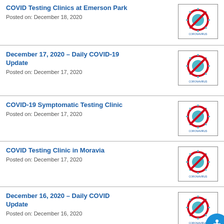COVID Testing Clinics at Emerson Park
Posted on: December 18, 2020
December 17, 2020 – Daily COVID-19 Update
Posted on: December 17, 2020
COVID-19 Symptomatic Testing Clinic
Posted on: December 17, 2020
COVID Testing Clinic in Moravia
Posted on: December 17, 2020
December 16, 2020 – Daily COVID Update
Posted on: December 16, 2020
December 15, 2020 COVID19